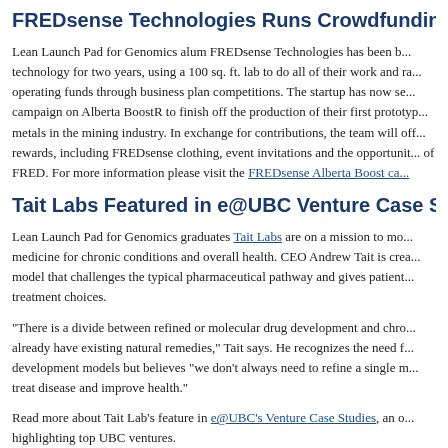FREDsense Technologies Runs Crowdfunding Campa...
Lean Launch Pad for Genomics alum FREDsense Technologies has been b... technology for two years, using a 100 sq. ft. lab to do all of their work and ra... operating funds through business plan competitions. The startup has now se... campaign on Alberta BoostR to finish off the production of their first prototyp... metals in the mining industry. In exchange for contributions, the team will off... rewards, including FREDsense clothing, event invitations and the opportunit... of FRED. For more information please visit the FREDsense Alberta Boost ca...
Tait Labs Featured in e@UBC Venture Case Studies
Lean Launch Pad for Genomics graduates Tait Labs are on a mission to mo... medicine for chronic conditions and overall health. CEO Andrew Tait is crea... model that challenges the typical pharmaceutical pathway and gives patient... treatment choices.
“There is a divide between refined or molecular drug development and chro... already have existing natural remedies,” Tait says. He recognizes the need f... development models but believes “we don’t always need to refine a single m... treat disease and improve health.”
Read more about Tait Lab’s feature in e@UBC’s Venture Case Studies, an o... highlighting top UBC ventures.